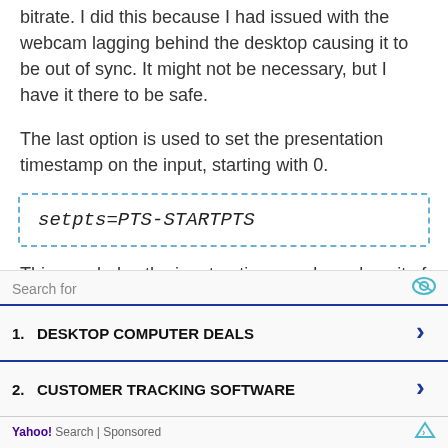bitrate. I did this because I had issued with the webcam lagging behind the desktop causing it to be out of sync. It might not be necessary, but I have it there to be safe.
The last option is used to set the presentation timestamp on the input, starting with 0.
This concludes the input options, and we close it of with [movie]; followed by [in] [movie]
Search for
1. DESKTOP COMPUTER DEALS
2. CUSTOMER TRACKING SOFTWARE
Yahoo! Search | Sponsored